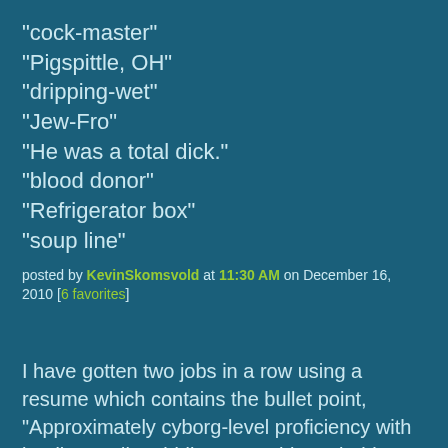"cock-master"
"Pigspittle, OH"
"dripping-wet"
"Jew-Fro"
"He was a total dick."
"blood donor"
"Refrigerator box"
"soup line"
posted by KevinSkomsvold at 11:30 AM on December 16, 2010 [6 favorites]
I have gotten two jobs in a row using a resume which contains the bullet point, "Approximately cyborg-level proficiency with leading audio middleware." This probably wouldn't work in other industries.
posted by jake at 11:34 AM on December 16, 2010 [2 favorites]